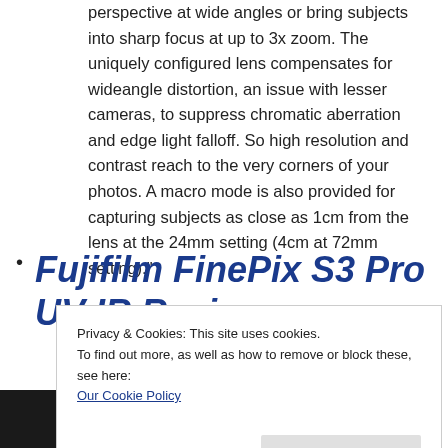perspective at wide angles or bring subjects into sharp focus at up to 3x zoom. The uniquely configured lens compensates for wideangle distortion, an issue with lesser cameras, to suppress chromatic aberration and edge light falloff. So high resolution and contrast reach to the very corners of your photos. A macro mode is also provided for capturing subjects as close as 1cm from the lens at the 24mm setting (4cm at 72mm setting)."
Fujifilm FinePix S3 Pro UV IR Review
Privacy & Cookies: This site uses cookies.
To find out more, as well as how to remove or block these, see here:
Our Cookie Policy
Close and accept
[Figure (photo): Camera lens close-up photo, dark/black]
12.3 megapixel Fujifilm S3 Pro – it features the ability to take Ultra